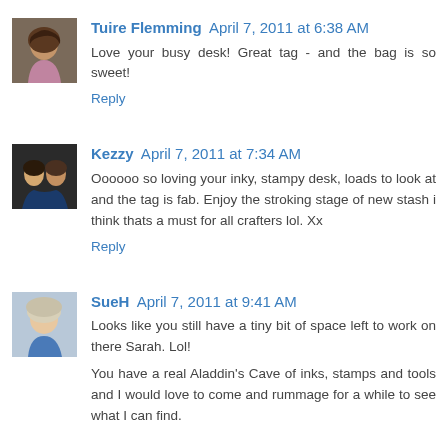[Figure (photo): Avatar photo of Tuire Flemming, a woman with dark hair]
Tuire Flemming April 7, 2011 at 6:38 AM
Love your busy desk! Great tag - and the bag is so sweet!
Reply
[Figure (photo): Avatar photo of Kezzy, a couple]
Kezzy April 7, 2011 at 7:34 AM
Oooooo so loving your inky, stampy desk, loads to look at and the tag is fab. Enjoy the stroking stage of new stash i think thats a must for all crafters lol. Xx
Reply
[Figure (photo): Avatar photo of SueH, older woman with blonde hair in blue top]
SueH April 7, 2011 at 9:41 AM
Looks like you still have a tiny bit of space left to work on there Sarah. Lol!

You have a real Aladdin's Cave of inks, stamps and tools and I would love to come and rummage for a while to see what I can find.